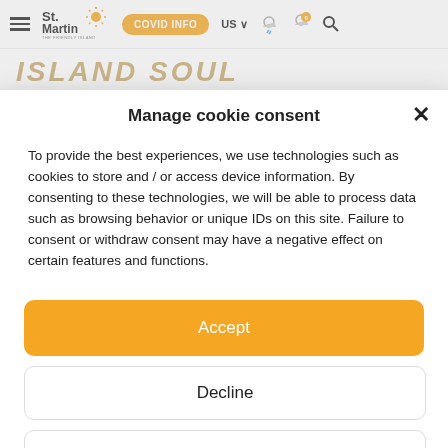St Martin – The Friendly Island – French Caribbean | COVID INFO | US | weather icon | 0 | search
ISLAND SOUL
Art, traditions, local stores
Manage cookie consent
To provide the best experiences, we use technologies such as cookies to store and / or access device information. By consenting to these technologies, we will be able to process data such as browsing behavior or unique IDs on this site. Failure to consent or withdraw consent may have a negative effect on certain features and functions.
Accept
Decline
See preferences
Mentions légales et confidentialité des données